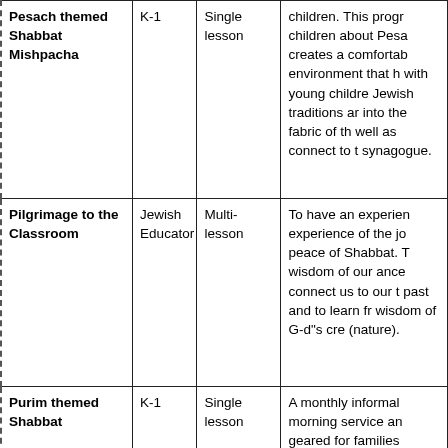| Pesach themed Shabbat Mishpacha | K-1 | Single lesson | children. This progr children about Pesa creates a comfortab environment that h with young childre Jewish traditions ar into the fabric of th well as connect to t synagogue. |
| Pilgrimage to the Classroom | Jewish Educator | Multi-lesson | To have an experien experience of the jo peace of Shabbat. T wisdom of our ance connect us to our t past and to learn fr wisdom of G-d"s cre (nature). |
| Purim themed Shabbat | K-1 | Single lesson | A monthly informal morning service an geared for families  children. This progr children about Puri a comfortable learn |